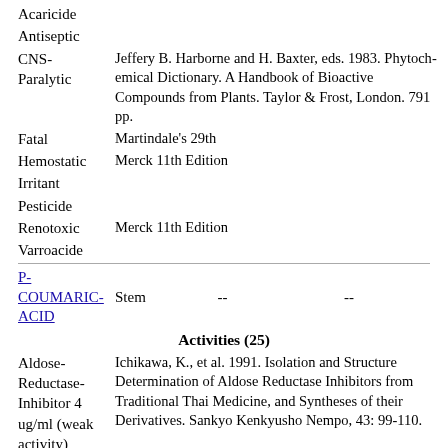Acaricide
Antiseptic
CNS-Paralytic
Jeffery B. Harborne and H. Baxter, eds. 1983. Phytochemical Dictionary. A Handbook of Bioactive Compounds from Plants. Taylor & Frost, London. 791 pp.
Fatal
Martindale's 29th
Hemostatic
Merck 11th Edition
Irritant
Pesticide
Renotoxic
Merck 11th Edition
Varroacide
P-COUMARIC-ACID   Stem   --   --
Activities (25)
Aldose-Reductase-Inhibitor 4 ug/ml (weak activity)
Ichikawa, K., et al. 1991. Isolation and Structure Determination of Aldose Reductase Inhibitors from Traditional Thai Medicine, and Syntheses of their Derivatives. Sankyo Kenkyusho Nempo, 43: 99-110.
Allelopathic
Jeffery B. Harborne and H. Baxter, eds. 1983. Phytochemical Dictionary. A Handbook of Bioactive Compounds from Plants. Taylor & Frost, London. 791 pp.